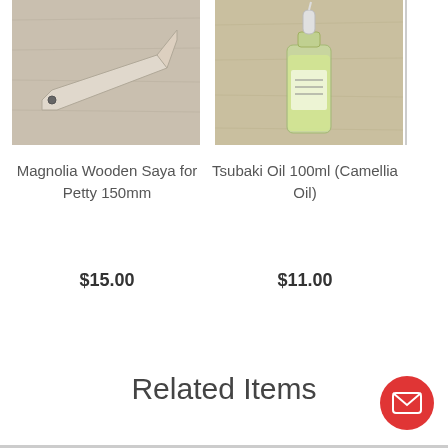[Figure (photo): Magnolia wooden saya (knife sheath) for Petty 150mm knife, lying on a light wood surface]
[Figure (photo): Tsubaki Oil 100ml (Camellia Oil) bottle with dropper cap on a light wood surface]
Magnolia Wooden Saya for Petty 150mm
Tsubaki Oil 100ml (Camellia Oil)
$15.00
$11.00
Related Items